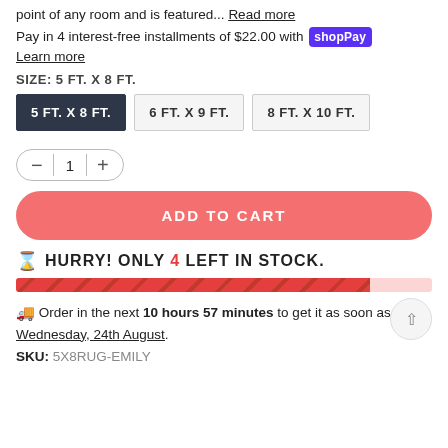point of any room and is featured... Read more
Pay in 4 interest-free installments of $22.00 with shopPay
Learn more
SIZE: 5 FT. X 8 FT.
5 FT. X 8 FT.
6 FT. X 9 FT.
8 FT. X 10 FT.
1 (quantity selector)
ADD TO CART
⌛ HURRY! ONLY 4 LEFT IN STOCK.
[Figure (infographic): Red diagonal striped stock progress bar showing approximately 85% filled]
🚚 Order in the next 10 hours 57 minutes to get it as soon as Wednesday, 24th August.
SKU: 5X8RUG-EMILY